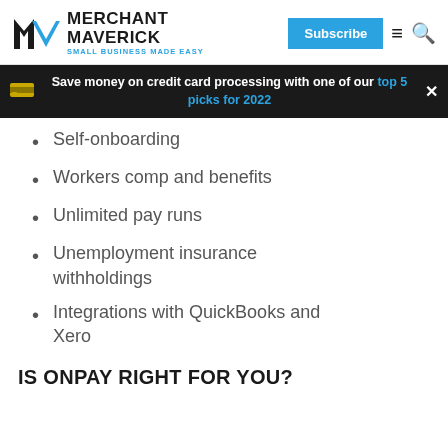MERCHANT MAVERICK — SMALL BUSINESS MADE EASY | Subscribe
Save money on credit card processing with one of our top 5 picks for 2022
Self-onboarding
Workers comp and benefits
Unlimited pay runs
Unemployment insurance withholdings
Integrations with QuickBooks and Xero
IS ONPAY RIGHT FOR YOU?